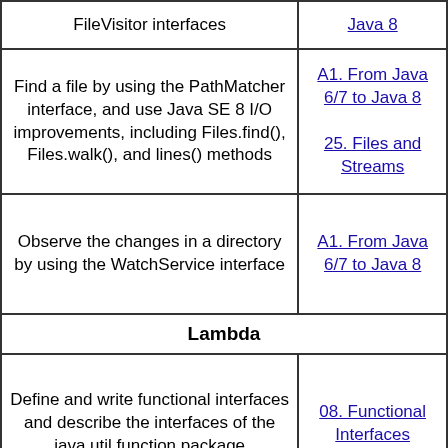| Topic/Objective | Reference |
| --- | --- |
| FileVisitor interfaces | Java 8 |
| Find a file by using the PathMatcher interface, and use Java SE 8 I/O improvements, including Files.find(), Files.walk(), and lines() methods | A1. From Java 6/7 to Java 8
25. Files and Streams |
| Observe the changes in a directory by using the WatchService interface | A1. From Java 6/7 to Java 8 |
| Lambda |  |
| Define and write functional interfaces and describe the interfaces of the java.util.function package | 08. Functional Interfaces |
| Describe a lambda expression; |  |